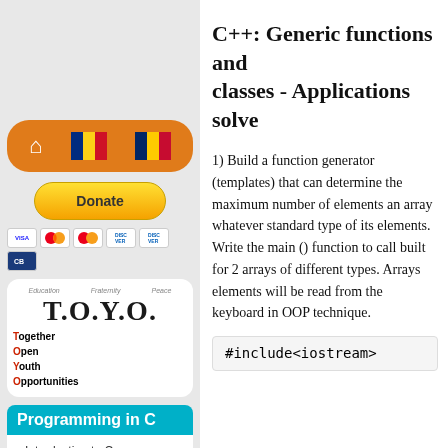[Figure (other): Navigation bar with orange background, home icon, Romanian flag, and Chadian flag]
[Figure (other): Yellow PayPal Donate button]
[Figure (other): Row of payment card icons: VISA, Mastercard, Mastercard, Discover, Discover, credit card]
[Figure (illustration): TOYO (Together Open Youth Opportunities) logo card with children photos, text 'Education Fraternity Peace', and text listing Together Open Youth Opportunities]
Programming in C
Introduction to C
Instructions
C++: Generic functions and classes - Applications solve
1) Build a function generator (templates) that can determine the maximum number of elements an array whatever standard type of its elements. Write the main () function to call built for 2 arrays of different types. Arrays elements will be read from the keyboard in OOP technique.
#include<iostream>